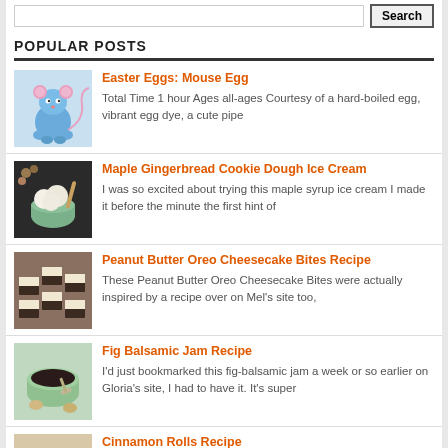POPULAR POSTS
Easter Eggs: Mouse Egg — Total Time 1 hour Ages all-ages Courtesy of a hard-boiled egg, vibrant egg dye, a cute pipe
Maple Gingerbread Cookie Dough Ice Cream — I was so excited about trying this maple syrup ice cream I made it before the minute the first hint of
Peanut Butter Oreo Cheesecake Bites Recipe — These Peanut Butter Oreo Cheesecake Bites were actually inspired by a recipe over on Mel's site too,
Fig Balsamic Jam Recipe — I'd just bookmarked this fig-balsamic jam a week or so earlier on Gloria's site, I had to have it. It's super
Cinnamon Rolls Recipe — More than a month ago I saw this recipe for cinnamon rolls on one of my favorite food blogs.